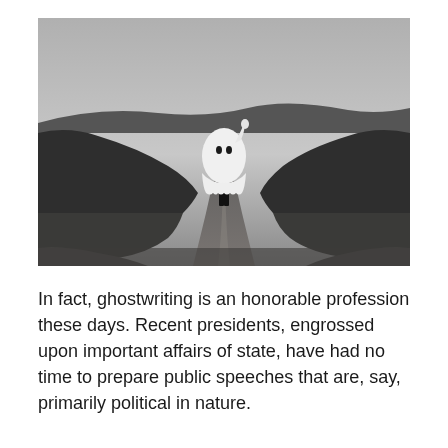[Figure (photo): Black and white photograph of a person dressed in a white ghost costume (sheet with eye holes) standing on a rural path between grassy hills, with an overcast sky in the background.]
In fact, ghostwriting is an honorable profession these days. Recent presidents, engrossed upon important affairs of state, have had no time to prepare public speeches that are, say, primarily political in nature.